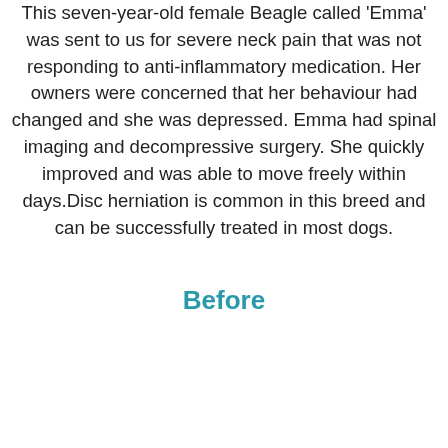This seven-year-old female Beagle called 'Emma' was sent to us for severe neck pain that was not responding to anti-inflammatory medication. Her owners were concerned that her behaviour had changed and she was depressed. Emma had spinal imaging and decompressive surgery. She quickly improved and was able to move freely within days.Disc herniation is common in this breed and can be successfully treated in most dogs.
Before